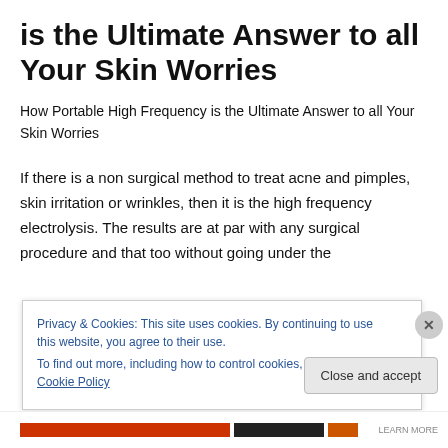is the Ultimate Answer to all Your Skin Worries
How Portable High Frequency is the Ultimate Answer to all Your Skin Worries
If there is a non surgical method to treat acne and pimples, skin irritation or wrinkles, then it is the high frequency electrolysis. The results are at par with any surgical procedure and that too without going under the
Privacy & Cookies: This site uses cookies. By continuing to use this website, you agree to their use.
To find out more, including how to control cookies, see here: Cookie Policy
Close and accept